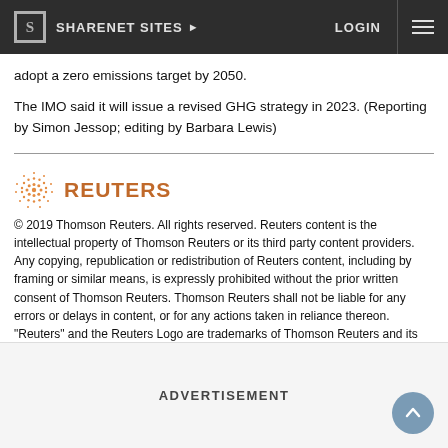SHARENET SITES  LOGIN
adopt a zero emissions target by 2050.
The IMO said it will issue a revised GHG strategy in 2023. (Reporting by Simon Jessop; editing by Barbara Lewis)
[Figure (logo): Reuters logo with orange dot-circle graphic and bold orange REUTERS text]
© 2019 Thomson Reuters. All rights reserved. Reuters content is the intellectual property of Thomson Reuters or its third party content providers. Any copying, republication or redistribution of Reuters content, including by framing or similar means, is expressly prohibited without the prior written consent of Thomson Reuters. Thomson Reuters shall not be liable for any errors or delays in content, or for any actions taken in reliance thereon. "Reuters" and the Reuters Logo are trademarks of Thomson Reuters and its affiliated companies.
ADVERTISEMENT